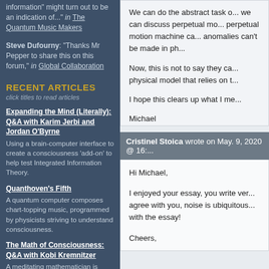information" might turn out to be an indication of..." in The Quantum Music Makers
Steve Dufourny: "Thanks Mr Pepper to share this on this forum," in Global Collaboration
RECENT ARTICLES
click titles to read articles
Expanding the Mind (Literally): Q&A with Karim Jerbi and Jordan O'Byrne
Using a brain-computer interface to create a consciousness 'add-on' to help test Integrated Information Theory.
Quanthoven's Fifth
A quantum computer composes chart-topping music, programmed by physicists striving to understand consciousness.
The Math of Consciousness: Q&A with Kobi Kremnitzer
A meditating mathematician is developing a theory of conscious experience to help understand the boundary between the quantum and classical world.
Can We Feel What It's Like to Be...
We can do the abstract task of... we can discuss perpetual mo... perpetual motion machine ca... anomalies can't be made in ph...
Now, this is not to say they ca... physical model that relies on t...
I hope this clears up what I me...
Michael
Cristinel Stoica wrote on May. 9, 2020 @ 16:...
Hi Michael,
I enjoyed your essay, you write ver... agree with you, noise is ubiquitous... with the essay!
Cheers,